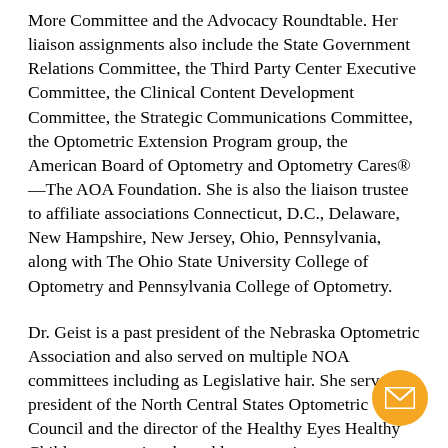More Committee and the Advocacy Roundtable. Her liaison assignments also include the State Government Relations Committee, the Third Party Center Executive Committee, the Clinical Content Development Committee, the Strategic Communications Committee, the Optometric Extension Program group, the American Board of Optometry and Optometry Cares®—The AOA Foundation. She is also the liaison trustee to affiliate associations Connecticut, D.C., Delaware, New Hampshire, New Jersey, Ohio, Pennsylvania, along with The Ohio State University College of Optometry and Pennsylvania College of Optometry.
Dr. Geist is a past president of the Nebraska Optometric Association and also served on multiple NOA committees including as Legislative hair. She served as president of the North Central States Optometric Council and the director of the Healthy Eyes Healthy Children grant aimed to address gaps in